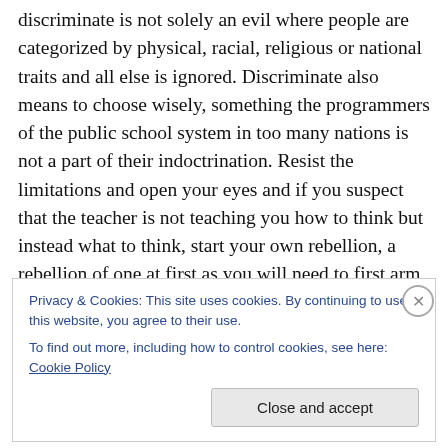discriminate is not solely an evil where people are categorized by physical, racial, religious or national traits and all else is ignored. Discriminate also means to choose wisely, something the programmers of the public school system in too many nations is not a part of their indoctrination. Resist the limitations and open your eyes and if you suspect that the teacher is not teaching you how to think but instead what to think, start your own rebellion, a rebellion of one at first as you will need to first arm yourself and then set out to change the world. Presuming you are an adequately proficient reader this list
Privacy & Cookies: This site uses cookies. By continuing to use this website, you agree to their use. To find out more, including how to control cookies, see here: Cookie Policy